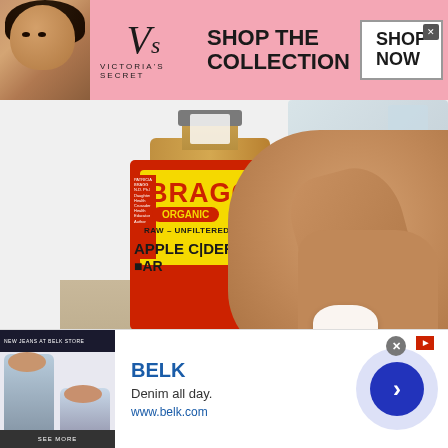[Figure (screenshot): Victoria's Secret advertisement banner with model, VS logo, 'SHOP THE COLLECTION' text and 'SHOP NOW' button on pink background]
[Figure (photo): Photo of a Bragg Organic Raw Unfiltered Apple Cider Vinegar bottle with a hand holding a cotton pad in the background]
We use cookies on our website to give you the most relevant experience by remembering your preferences and repeat visits. By clicking “Accept,” you consent to the use of ALL the
[Figure (screenshot): Belk advertisement showing denim clothing, with text 'BELK', 'Denim all day.', 'www.belk.com' and a navigation arrow button]